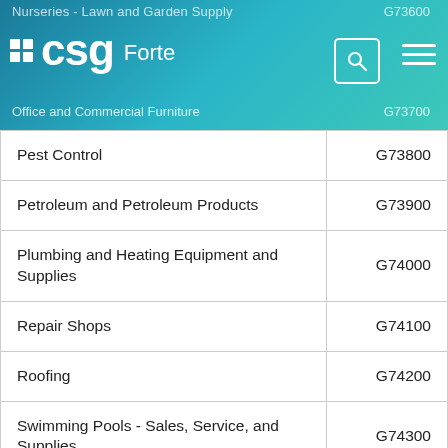Nurseries - Lawn and Garden Supply G73600 | CSG Forte | Office and Commercial Furniture G73700
| Category | Code |
| --- | --- |
| Pest Control | G73800 |
| Petroleum and Petroleum Products | G73900 |
| Plumbing and Heating Equipment and Supplies | G74000 |
| Repair Shops | G74100 |
| Roofing | G74200 |
| Swimming Pools - Sales, Service, and Supplies | G74300 |